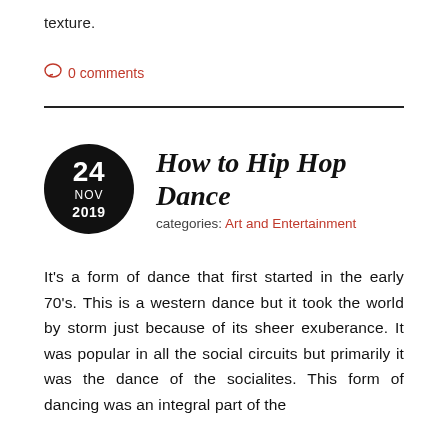texture.
0 comments
How to Hip Hop Dance
categories: Art and Entertainment
It's a form of dance that first started in the early 70's. This is a western dance but it took the world by storm just because of its sheer exuberance. It was popular in all the social circuits but primarily it was the dance of the socialites. This form of dancing was an integral part of the